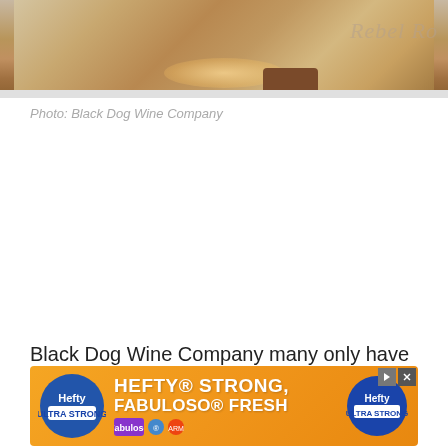[Figure (photo): Partial photograph of Black Dog Wine Company interior or product display, cropped at top of page showing warm amber/brown tones with a light source and cylindrical object, watermark text 'Rebel Ro' partially visible]
Photo: Black Dog Wine Company
Black Dog Wine Company many only have been established in 2016, but they're already producing several award-winning wines. Located in the ...s from
[Figure (screenshot): Advertisement banner for Hefty Strong, Fabuloso Fresh products showing orange background with Hefty logo, bold white text 'HEFTY STRONG, FABULOSO FRESH', and product image on right]